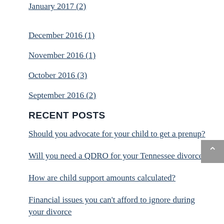January 2017 (2)
December 2016 (1)
November 2016 (1)
October 2016 (3)
September 2016 (2)
RECENT POSTS
Should you advocate for your child to get a prenup?
Will you need a QDRO for your Tennessee divorce?
How are child support amounts calculated?
Financial issues you can't afford to ignore during your divorce
2 signs that you may need a postnuptial agreement